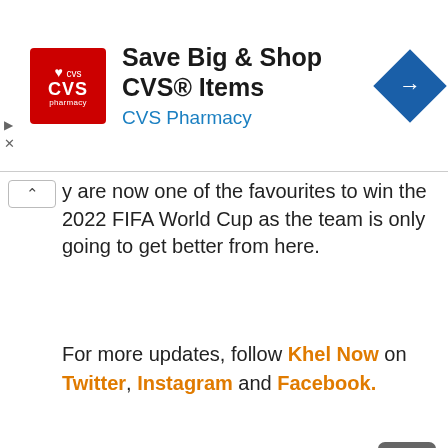[Figure (screenshot): CVS Pharmacy advertisement banner with red logo, headline 'Save Big & Shop CVS® Items', subtitle 'CVS Pharmacy' in blue, and a blue diamond navigation arrow icon on the right.]
y are now one of the favourites to win the 2022 FIFA World Cup as the team is only going to get better from here.
For more updates, follow Khel Now on Twitter, Instagram and Facebook.
[Figure (other): Three grey dots (pagination indicator) and a dark grey back-to-top button with an upward chevron arrow.]